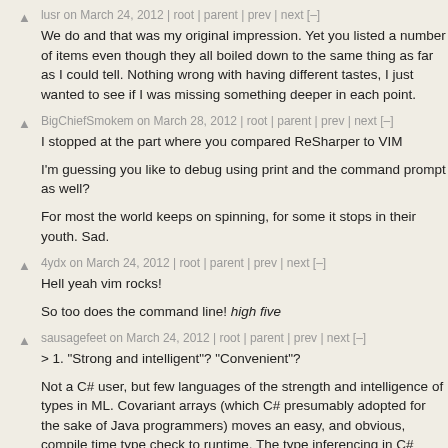lusr on March 24, 2012 | root | parent | prev | next [–]
We do and that was my original impression. Yet you listed a number of items even though they all boiled down to the same thing as far as I could tell. Nothing wrong with having different tastes, I just wanted to see if I was missing something deeper in each point.
BigChiefSmokem on March 28, 2012 | root | parent | prev | next [–]
I stopped at the part where you compared ReSharper to VIM

I'm guessing you like to debug using print and the command prompt as well?

For most the world keeps on spinning, for some it stops in their youth. Sad.
4ydx on March 24, 2012 | root | parent | prev | next [–]
Hell yeah vim rocks!

So too does the command line! high five
sausagefeet on March 24, 2012 | root | parent | prev | next [–]
> 1. "Strong and intelligent"? "Convenient"?

Not a C# user, but few languages of the strength and intelligence of types in ML. Covariant arrays (which C# presumably adopted for the sake of Java programmers) moves an easy, and obvious, compile time type check to runtime. The type inferencing in C#